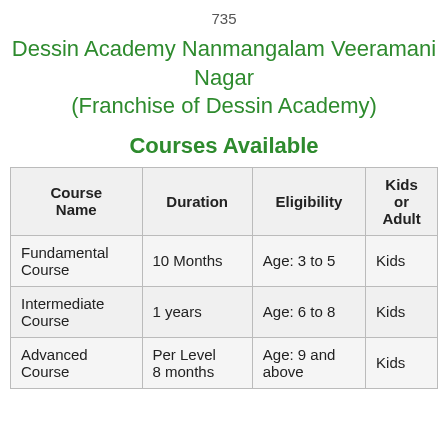735
Dessin Academy Nanmangalam Veeramani Nagar
(Franchise of Dessin Academy)
Courses Available
| Course Name | Duration | Eligibility | Kids or Adult |
| --- | --- | --- | --- |
| Fundamental Course | 10 Months | Age: 3 to 5 | Kids |
| Intermediate Course | 1 years | Age: 6 to 8 | Kids |
| Advanced Course | Per Level 8 months | Age: 9 and above | Kids |